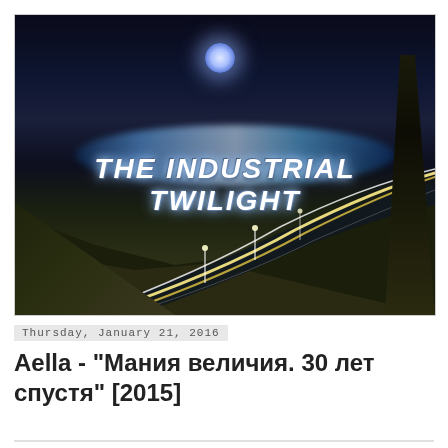[Figure (photo): Night cityscape photo with long-exposure car light trails on a curved highway, city lights in background, dark sky with moon, text overlay reading THE INDUSTRIAL TWILIGHT]
Thursday, January 21, 2016
Aella - "Мания величия. 30 лет спустя" [2015]